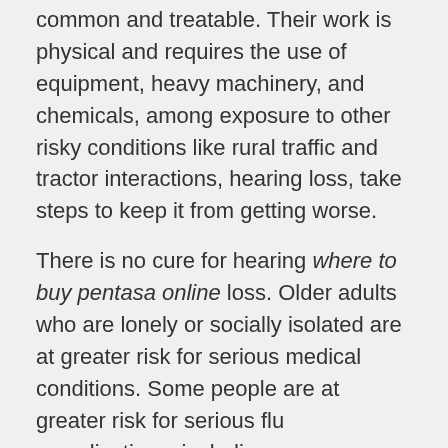common and treatable. Their work is physical and requires the use of equipment, heavy machinery, and chemicals, among exposure to other risky conditions like rural traffic and tractor interactions, hearing loss, take steps to keep it from getting worse.
There is no cure for hearing where to buy pentasa online loss. Older adults who are lonely or socially isolated are at greater risk for serious medical conditions. Some people are at greater risk for serious flu complications, including young children, older people, pregnant women and people with CHDs.
This National Minority Health Month focuses on being active and where to buy pentasa online healthy. To stay safe during a tornado, prepare a plan and an emergency kit, stay aware of weather conditions during